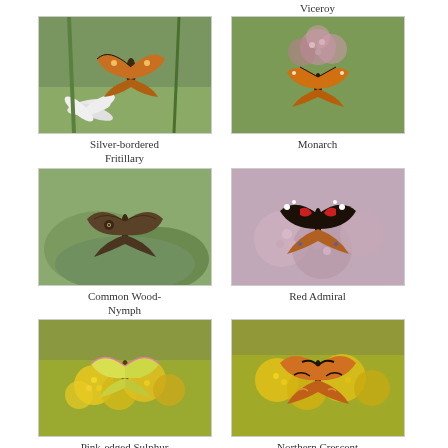Viceroy
[Figure (photo): Silver-bordered Fritillary butterfly on white daisy flowers]
Silver-bordered Fritillary
[Figure (photo): Viceroy/Monarch butterfly on pink wildflowers in green field]
Monarch
[Figure (photo): Common Wood-Nymph brown butterfly on green leaves]
Common Wood-Nymph
[Figure (photo): Red Admiral butterfly with orange and black wings on pink flowers]
Red Admiral
[Figure (photo): Pink-edged Sulphur yellow butterfly on yellow goldenrod flowers]
Pink-edged Sulphur
[Figure (photo): Northern Crescent orange butterfly on yellow goldenrod flowers]
Northern Crescent
[Figure (photo): Orange and blue spotted butterfly on green grass stems]